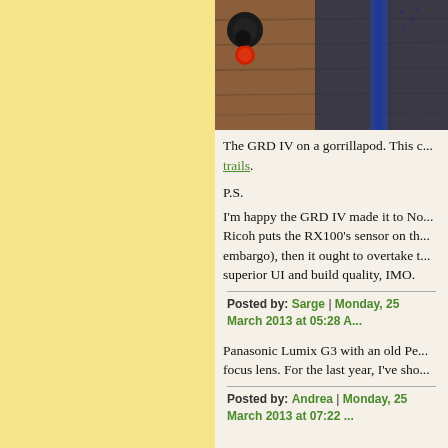[Figure (photo): Photo of a GRD IV camera on a gorrillapod, showing beads and camera strap on a wooden surface]
The GRD IV on a gorrillapod. This c... trails.
P.S.
I'm happy the GRD IV made it to No... Ricoh puts the RX100's sensor on th... embargo), then it ought to overtake t... superior UI and build quality, IMO.
Posted by: Sarge | Monday, 25 March 2013 at 05:28 A...
Panasonic Lumix G3 with an old Pe... focus lens. For the last year, I've sho...
Posted by: Andrea | Monday, 25 March 2013 at 07:22 ...